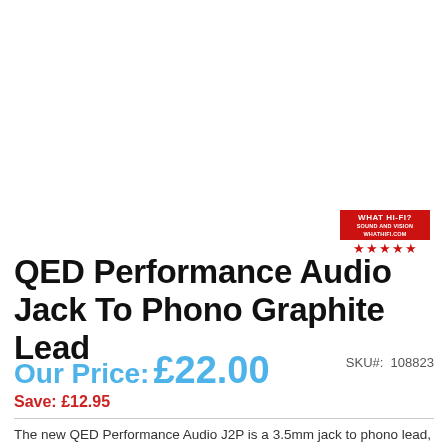[Figure (logo): What Hi-Fi? Sound and Vision five-star award badge - red rectangle with white text 'WHAT HI-FI?' and 'SOUND AND VISION', 'WHATHIFI.COM', with five red stars below]
QED Performance Audio Jack To Phono Graphite Lead
Our Price: £22.00
SKU#: 108823
Save: £12.95
The new QED Performance Audio J2P is a 3.5mm jack to phono lead, interconnect and will connect your MP3 player